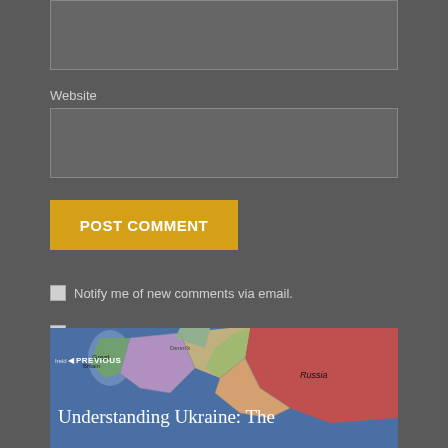Website
POST COMMENT
Notify me of new comments via email.
Notify me of new posts via email.
[Figure (map): Map of Europe showing countries with Russia labeled in the upper right area. Blue background (ocean). Various countries filled with different colors.]
PREVIOUS
Understanding Ukraine: The